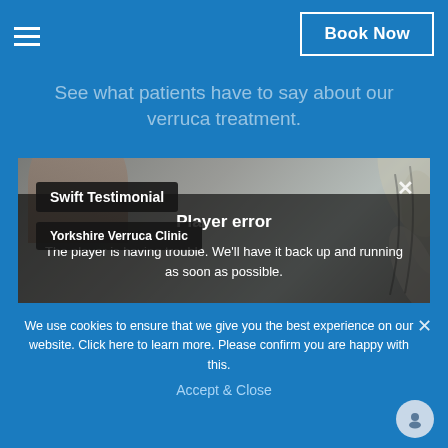Book Now
See what patients have to say about our verruca treatment.
[Figure (screenshot): Video player showing Swift Testimonial from Yorkshire Verruca Clinic with a player error overlay. The video thumbnail shows a person and decorative leaf shapes. A player error message reads: 'Player error — The player is having trouble. We'll have it back up and running as soon as possible.']
We use cookies to ensure that we give you the best experience on our website. Click here to learn more. Please confirm you are happy with this.
Accept & Close